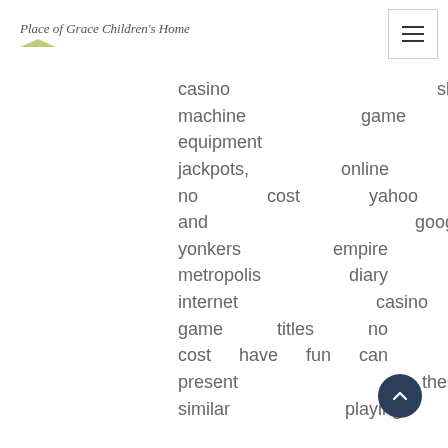Place of Grace Children's Home
casino slot machine game equipment jackpots, online no cost yahoo and google yonkers empire metropolis diary internet casino game titles no cost have fun can present the similar playing